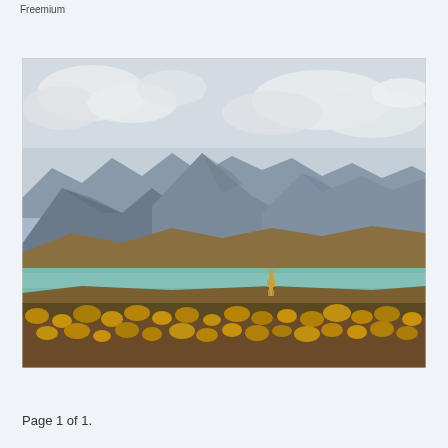Freemium
[Figure (photo): Landscape photograph showing an arid high-altitude scene with golden grasses and scrubby vegetation in the foreground, a turquoise lake in the middle ground, large volcanic mountains in the background, and a partly cloudy sky. A single camelid (vicuña or guanaco) stands near the lakeshore.]
Page 1 of 1.